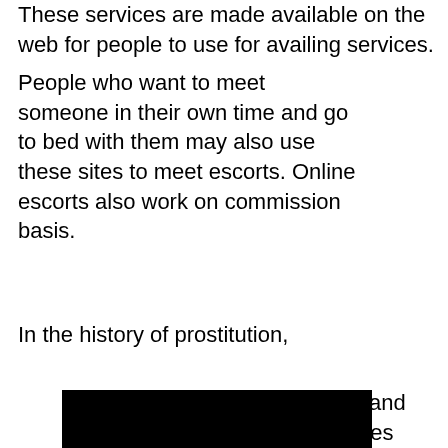These services are made available on the web for people to use for availing services.
People who want to meet someone in their own time and go to bed with them may also use these sites to meet escorts. Online escorts also work on commission basis.
In the history of prostitution,
[Figure (photo): Black rectangular image, likely a redacted or dark photo]
escorts and prostitutes have existed side by side. The